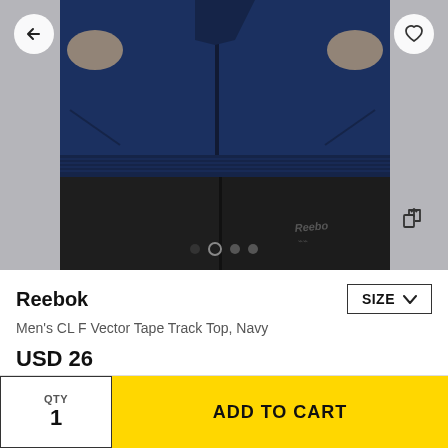[Figure (photo): Product photo of a person wearing a navy Reebok track jacket and black track pants with Reebok logo on the leg. Navigation arrows and icons overlay the image. Four dot pagination indicators at the bottom.]
Reebok
Men's CL F Vector Tape Track Top, Navy
USD 26
QTY
1
ADD TO CART